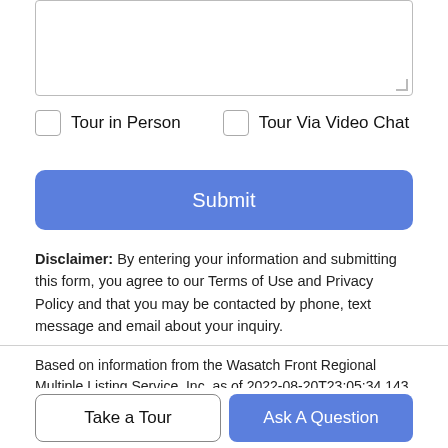[Figure (screenshot): Empty textarea input field with resize handle at bottom-right]
Tour in Person
Tour Via Video Chat
Submit
Disclaimer: By entering your information and submitting this form, you agree to our Terms of Use and Privacy Policy and that you may be contacted by phone, text message and email about your inquiry.
Based on information from the Wasatch Front Regional Multiple Listing Service, Inc. as of 2022-08-20T23:05:34.143. All data, including all measurements and calculations of area, is obtained from this source and has not been independently and should not be
Take a Tour
Ask A Question